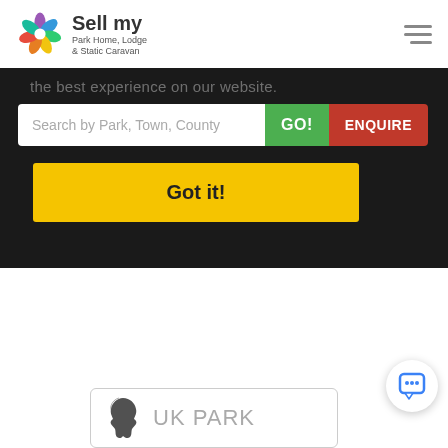[Figure (logo): Sell my Park Home, Lodge & Static Caravan logo with colorful flower icon]
the best experience on our website.
Search by Park, Town, County
GO!
ENQUIRE
Got it!
[Figure (illustration): UK Park card with UK map silhouette and text 'UK PARK']
[Figure (illustration): Chat bubble icon button (bottom right)]